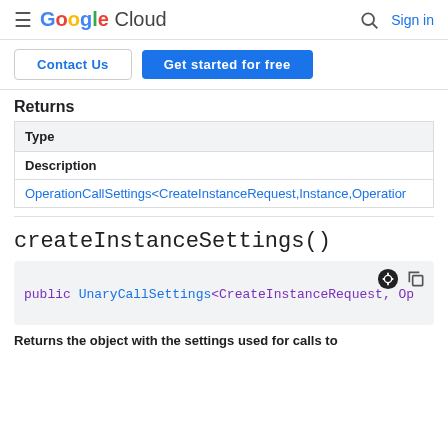Google Cloud | Sign in
Contact Us | Get started for free
Returns
| Type |
| --- |
| Description |
| OperationCallSettings<CreateInstanceRequest,Instance,Operation |
createInstanceSettings()
public UnaryCallSettings<CreateInstanceRequest, Op
Returns the object with the settings used for calls to